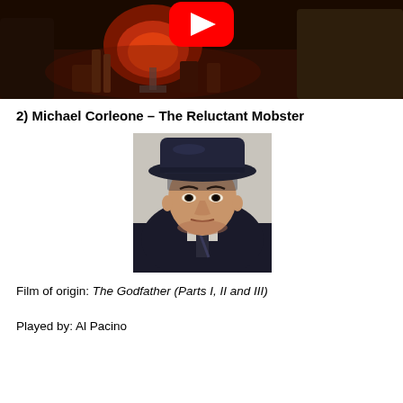[Figure (screenshot): Top portion of a YouTube video thumbnail showing a dimly lit restaurant scene with a red lamp and people seated at a table. A red YouTube play button icon is visible at the top center.]
2) Michael Corleone – The Reluctant Mobster
[Figure (photo): Black and white photograph of a young man wearing a dark fedora hat and suit, looking intensely at the camera. This is Al Pacino as Michael Corleone from The Godfather.]
Film of origin: The Godfather (Parts I, II and III)
Played by: Al Pacino